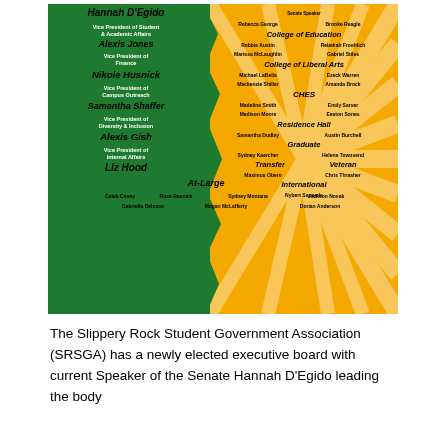[Figure (infographic): Slippery Rock Student Government Association organizational chart infographic with green left panel showing executive officers and gold/yellow right panel showing senators by college/category. Left panel: Hannah D'Egido (President implied), Alexis Jones (VP Student & Academic Affairs), Nikole Husnick (VP Finance), Samantha Shaffer (VP Campus Outreach), Alexis Gish (VP Diversity & Inclusion), Liz Hood (VP Internal Affairs). Right panel lists senators by college and category including College of Education, College of Liberal Arts, CHES, Residence Hall, Graduate, Transfer, Veteran, International, At-Large.]
The Slippery Rock Student Government Association (SRSGA) has a newly elected executive board with current Speaker of the Senate Hannah D'Egido leading the body